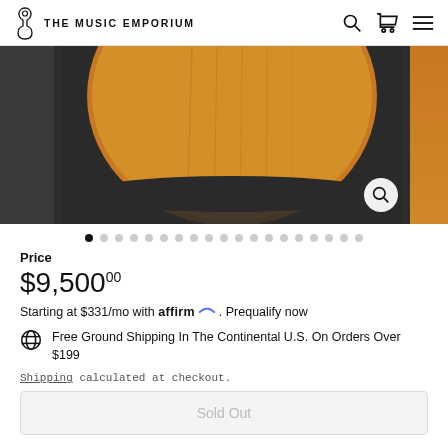THE MUSIC EMPORIUM
[Figure (photo): Guitar body close-up showing amber/orange spruce top against dark background, with zoom magnifier button in bottom right corner]
Price
$9,500.00
Starting at $331/mo with affirm. Prequalify now
Free Ground Shipping In The Continental U.S. On Orders Over $199
Shipping calculated at checkout.
Sold Out